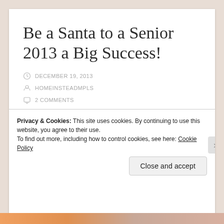Be a Santa to a Senior 2013 a Big Success!
DECEMBER 19, 2013
HOMEINSTEADMPLS
2 COMMENTS
[Figure (photo): Photo of person wearing a white Santa hat]
Generous Minneapolis volunteers went “over the river and through the
Privacy & Cookies: This site uses cookies. By continuing to use this website, you agree to their use.
To find out more, including how to control cookies, see here: Cookie Policy
Close and accept